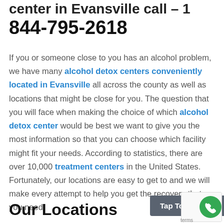center in Evansville call – 1 844-795-2618
If you or someone close to you has an alcohol problem, we have many alcohol detox centers conveniently located in Evansville all across the county as well as locations that might be close for you. The question that you will face when making the choice of which alcohol detox center would be best we want to give you the most information so that you can choose which facility might fit your needs. According to statistics, there are over 10,000 treatment centers in the United States. Fortunately, our locations are easy to get to and we will make every attempt to help you get the recovery that you need.
Our Locations